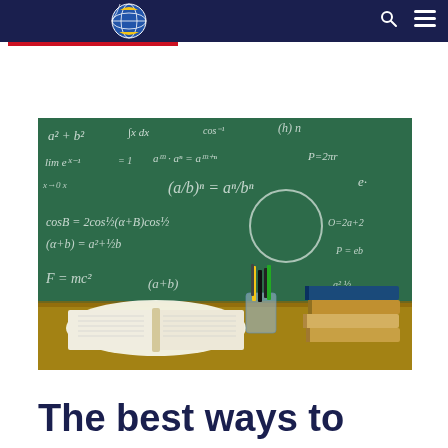[Figure (photo): A chalkboard covered in mathematical equations and formulas with an open book, a cup of pencils, and a stack of books on a wooden desk in the foreground.]
The best ways to